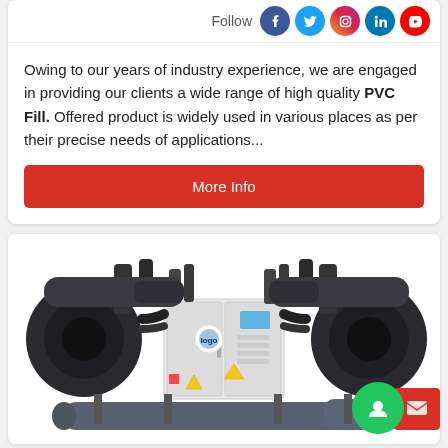Follow
Owing to our years of industry experience, we are engaged in providing our clients a wide range of high quality PVC Fill. Offered product is widely used in various places as per their precise needs of applications...
More Info
[Figure (photo): Industrial water cooled screw chiller machine, large industrial cooling unit with pipes and compressors]
Water Cooled Screw Chiller